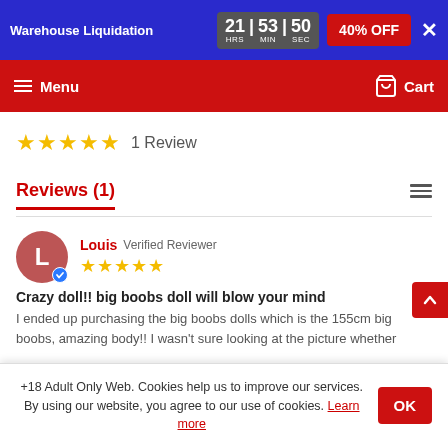Warehouse Liquidation | 21 HRS 53 MIN 50 SEC | 40% OFF
Menu | Cart
★★★★★ 1 Review
Reviews (1)
Louis  Verified Reviewer
★★★★★
Crazy doll!! big boobs doll will blow your mind
I ended up purchasing the big boobs dolls which is the 155cm big boobs, amazing body!! I wasn't sure looking at the picture whether
+18 Adult Only Web. Cookies help us to improve our services. By using our website, you agree to our use of cookies. Learn more